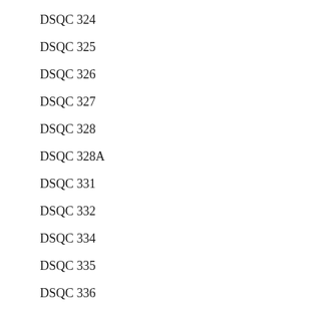DSQC 324
DSQC 325
DSQC 326
DSQC 327
DSQC 328
DSQC 328A
DSQC 331
DSQC 332
DSQC 334
DSQC 335
DSQC 336